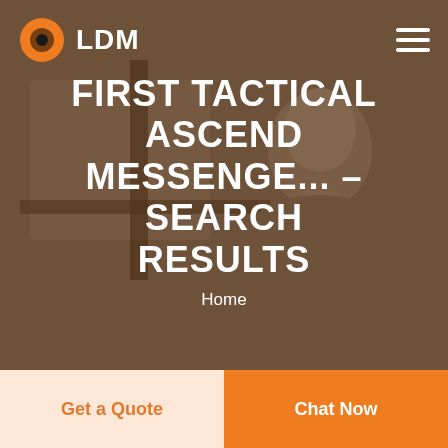[Figure (screenshot): Website hero section with dark grayscale background photo of a person, orange-tinted overlay, LDM logo with orange ring icon in top-left, hamburger menu in top-right, large white bold heading and breadcrumb text centered, with two CTA buttons at bottom]
LDM
FIRST TACTICAL ASCEND MESSENGE... - SEARCH RESULTS
Home